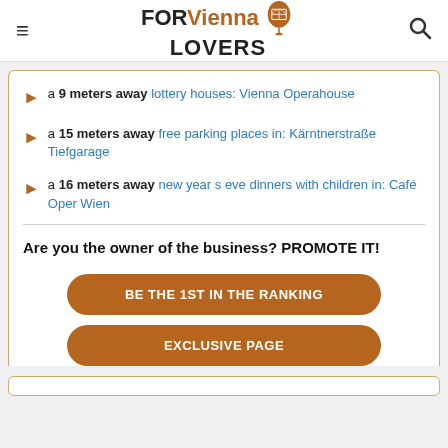FOR Vienna LOVERS
a 9 meters away lottery houses: Vienna Operahouse
a 15 meters away free parking places in: Kärntnerstraße Tiefgarage
a 16 meters away new year s eve dinners with children in: Café Oper Wien
Are you the owner of the business? PROMOTE IT!
BE THE 1ST IN THE RANKING
EXCLUSIVE PAGE